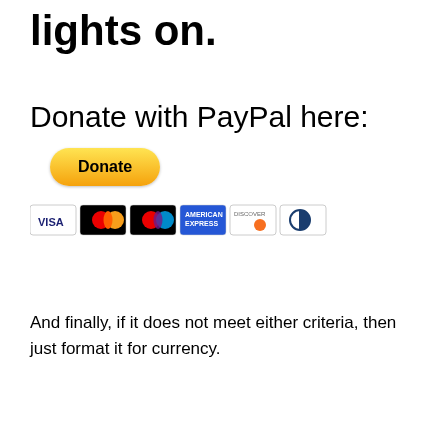lights on.
Donate with PayPal here:
[Figure (other): PayPal Donate button (yellow pill-shaped button with bold 'Donate' text) followed by payment card icons: Visa, Mastercard, Maestro, American Express, Discover, Diners Club]
And finally, if it does not meet either criteria, then just format it for currency.